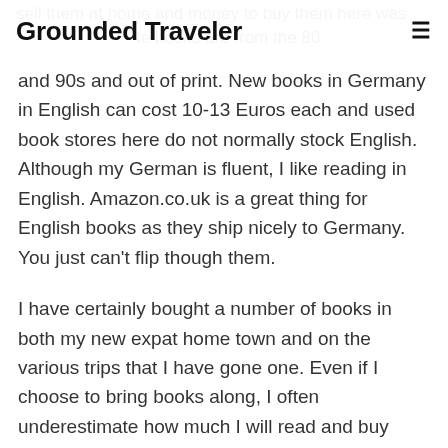Grounded Traveler
and 90s and out of print. New books in Germany in English can cost 10-13 Euros each and used book stores here do not normally stock English. Although my German is fluent, I like reading in English. Amazon.co.uk is a great thing for English books as they ship nicely to Germany. You just can’t flip though them.
I have certainly bought a number of books in both my new expat home town and on the various trips that I have gone one. Even if I choose to bring books along, I often underestimate how much I will read and buy more along the way.
Pros: The weight issue is not a problem going out, though could be if you bought a book along the way and couldn’t bear to part with it. You still end up with the physical book.